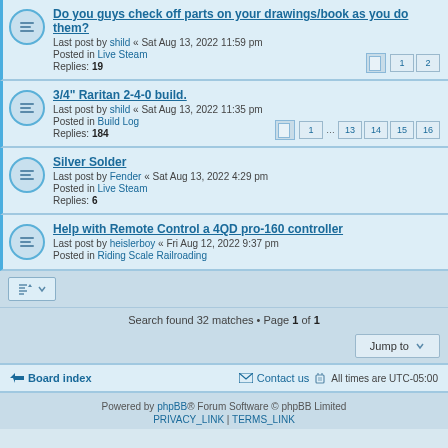Do you guys check off parts on your drawings/book as you do them? Last post by shild « Sat Aug 13, 2022 11:59 pm Posted in Live Steam Replies: 19
3/4" Raritan 2-4-0 build. Last post by shild « Sat Aug 13, 2022 11:35 pm Posted in Build Log Replies: 184
Silver Solder Last post by Fender « Sat Aug 13, 2022 4:29 pm Posted in Live Steam Replies: 6
Help with Remote Control a 4QD pro-160 controller Last post by heislerboy « Fri Aug 12, 2022 9:37 pm Posted in Riding Scale Railroading
Search found 32 matches • Page 1 of 1
Board index | Contact us | All times are UTC-05:00
Powered by phpBB® Forum Software © phpBB Limited PRIVACY_LINK | TERMS_LINK